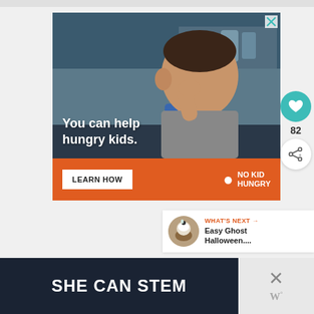[Figure (photo): Advertisement banner: No Kid Hungry. Shows a young child eating in a classroom, with text 'You can help hungry kids.' and a 'LEARN HOW' button on orange bar with No Kid Hungry logo.]
82
WHAT'S NEXT → Easy Ghost Halloween...
[Figure (photo): SHE CAN STEM advertisement banner with dark navy background and bold white text.]